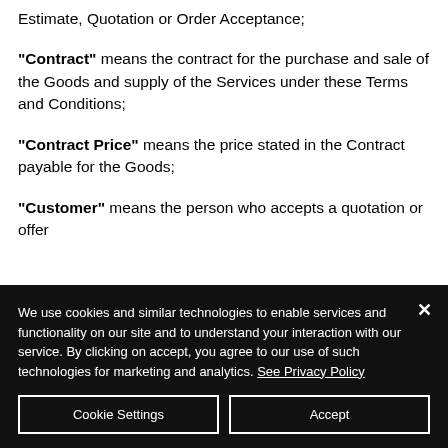Estimate, Quotation or Order Acceptance;
"Contract" means the contract for the purchase and sale of the Goods and supply of the Services under these Terms and Conditions;
"Contract Price" means the price stated in the Contract payable for the Goods;
"Customer" means the person who accepts a quotation or offer
We use cookies and similar technologies to enable services and functionality on our site and to understand your interaction with our service. By clicking on accept, you agree to our use of such technologies for marketing and analytics. See Privacy Policy